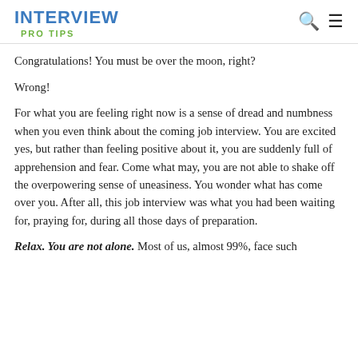INTERVIEW PRO TIPS
Congratulations! You must be over the moon, right?
Wrong!
For what you are feeling right now is a sense of dread and numbness when you even think about the coming job interview. You are excited yes, but rather than feeling positive about it, you are suddenly full of apprehension and fear. Come what may, you are not able to shake off the overpowering sense of uneasiness. You wonder what has come over you. After all, this job interview was what you had been waiting for, praying for, during all those days of preparation.
Relax. You are not alone. Most of us, almost 99%, face such